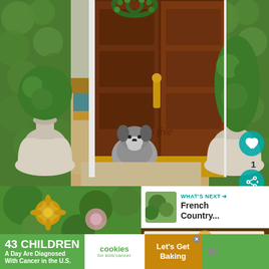[Figure (photo): A schnauzer dog sitting at an open ornate dark-wood front door with 'two two five' script text on the door panel. Flanking the door are large white urn planters with boxwood topiaries and green hedge walls. Inside the home, a gold-framed chair and furniture are visible. A green wreath is on the top of the double door.]
1
[Figure (photo): Small thumbnail photo showing gold floral decorative elements with green foliage]
[Figure (photo): Small thumbnail photo showing an open Bible with PSALM 60 text visible]
WHAT'S NEXT → French Country...
43 CHILDREN A Day Are Diagnosed With Cancer in the U.S.
cookies for kids' cancer
Let's Get Baking